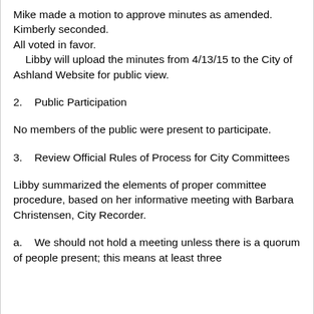Mike made a motion to approve minutes as amended. Kimberly seconded.
All voted in favor.
    Libby will upload the minutes from 4/13/15 to the City of Ashland Website for public view.
2.    Public Participation
No members of the public were present to participate.
3.    Review Official Rules of Process for City Committees
Libby summarized the elements of proper committee procedure, based on her informative meeting with Barbara Christensen, City Recorder.
a.    We should not hold a meeting unless there is a quorum of people present; this means at least three